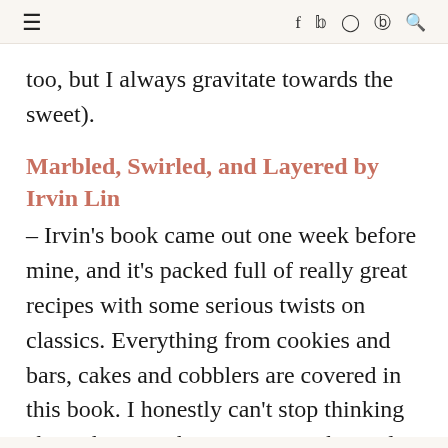≡   f  ✓  ⊙  ℗  🔍
too, but I always gravitate towards the sweet).
Marbled, Swirled, and Layered by Irvin Lin
– Irvin's book came out one week before mine, and it's packed full of really great recipes with some serious twists on classics. Everything from cookies and bars, cakes and cobblers are covered in this book. I honestly can't stop thinking about the Pumpkin S'mores with Maple Brown Sugar Marshmallows and Dark Chocolate (dang!), and can't wait to try the